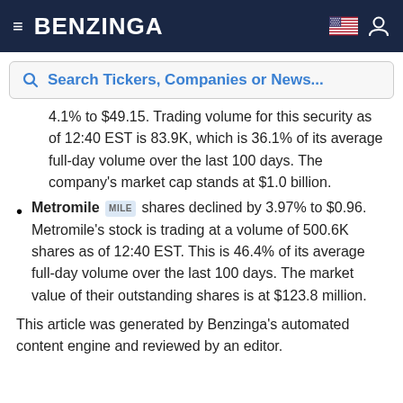BENZINGA
Search Tickers, Companies or News...
4.1% to $49.15. Trading volume for this security as of 12:40 EST is 83.9K, which is 36.1% of its average full-day volume over the last 100 days. The company's market cap stands at $1.0 billion.
Metromile MILE shares declined by 3.97% to $0.96. Metromile's stock is trading at a volume of 500.6K shares as of 12:40 EST. This is 46.4% of its average full-day volume over the last 100 days. The market value of their outstanding shares is at $123.8 million.
This article was generated by Benzinga's automated content engine and reviewed by an editor.